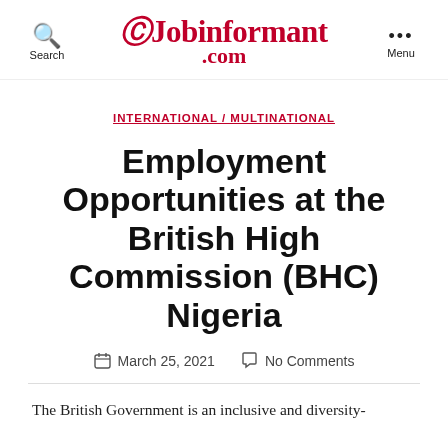Jobinformant.com
INTERNATIONAL / MULTINATIONAL
Employment Opportunities at the British High Commission (BHC) Nigeria
March 25, 2021   No Comments
The British Government is an inclusive and diversity-